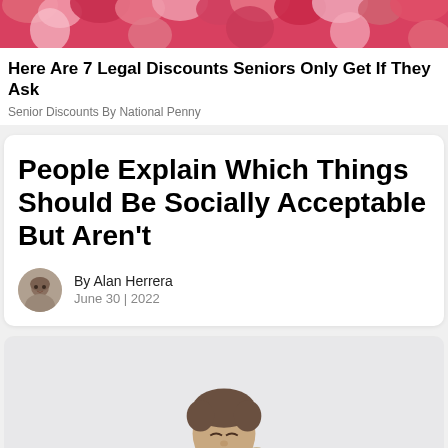[Figure (photo): Pink floral decorative banner image at top of page]
Here Are 7 Legal Discounts Seniors Only Get If They Ask
Senior Discounts By National Penny
People Explain Which Things Should Be Socially Acceptable But Aren't
By Alan Herrera
June 30 | 2022
[Figure (photo): Man in light colored suit jacket shouting or yelling, holding a phone to his mouth, photographed against a light grey background]